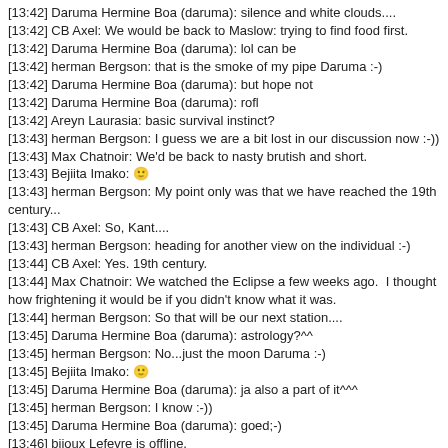[13:42] Daruma Hermine Boa (daruma): silence and white clouds....
[13:42] CB Axel: We would be back to Maslow: trying to find food first.
[13:42] Daruma Hermine Boa (daruma): lol can be
[13:42] herman Bergson: that is the smoke of my pipe Daruma :-)
[13:42] Daruma Hermine Boa (daruma): but hope not
[13:42] Daruma Hermine Boa (daruma): rofl
[13:42] Areyn Laurasia: basic survival instinct?
[13:43] herman Bergson: I guess we are a bit lost in our discussion now :-))
[13:43] Max Chatnoir: We'd be back to nasty brutish and short.
[13:43] Bejiita Imako: 🙂
[13:43] herman Bergson: My point only was that we have reached the 19th century...
[13:43] CB Axel: So, Kant....
[13:43] herman Bergson: heading for another view on the individual :-)
[13:44] CB Axel: Yes. 19th century.
[13:44] Max Chatnoir: We watched the Eclipse a few weeks ago.  I thought how frightening it would be if you didn't know what it was.
[13:44] herman Bergson: So that will be our next station....
[13:45] Daruma Hermine Boa (daruma): astrology?^^
[13:45] herman Bergson: No...just the moon Daruma :-)
[13:45] Bejiita Imako: 🙂
[13:45] Daruma Hermine Boa (daruma): ja also a part of it^^^
[13:45] herman Bergson: I know :-))
[13:45] Daruma Hermine Boa (daruma): goed;-)
[13:46] bijoux Lefevre is offline.
[13:46] herman Bergson: "planeet" belonging to Cancer...:-)
[13:46] Daruma Hermine Boa (daruma): very good !
[13:46] herman Bergson: Ruler of Cancer it is called...
[13:46] Daruma Hermine Boa (daruma): so lessons for next year
[13:47] herman Bergson: But I think it is time to end the discussion now that we wind up in astrology :-))
[13:47] Daruma Hermine Boa (daruma): ;-)